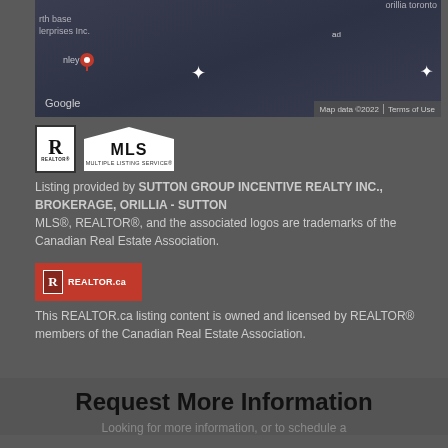[Figure (map): Google Maps screenshot showing a location pin in a dark-themed map view. Labels visible include partial text 'rth base', 'lerprises inc', 'nley' with a red location pin. Google branding and 'Map data ©2022' and 'Terms of Use' visible.]
[Figure (logo): REALTOR logo (R in a box with REALTOR text below) and MLS Multiple Listing Service logo side by side]
Listing provided by SUTTON GROUP INCENTIVE REALTY INC., BROKERAGE, ORILLIA - SUTTON
MLS®, REALTOR®, and the associated logos are trademarks of the Canadian Real Estate Association.
[Figure (logo): REALTOR.ca red badge logo with white R icon and REALTOR.ca text]
This REALTOR.ca listing content is owned and licensed by REALTOR® members of the Canadian Real Estate Association.
Request More Information
Looking for more information, or to schedule a